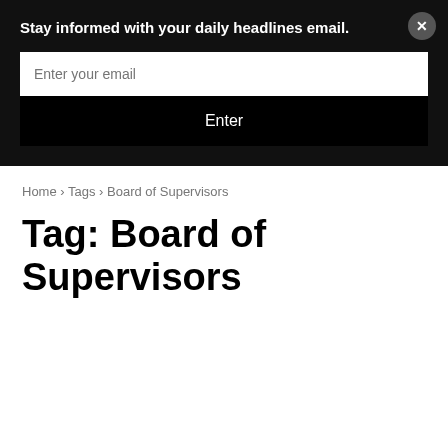Stay informed with your daily headlines email.
Enter your email
Enter
Home › Tags › Board of Supervisors
Tag: Board of Supervisors